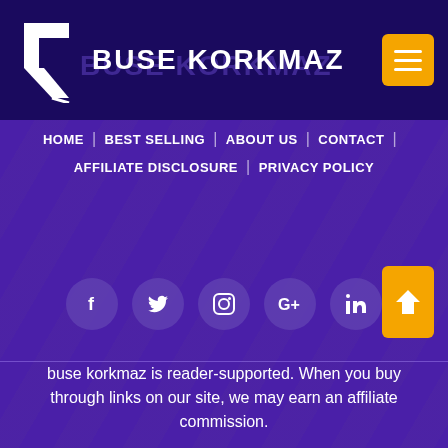[Figure (logo): Buse Korkmaz logo with white geometric arrow/letter icon and site name in bold white uppercase text on dark navy header bar, with orange hamburger menu button in top right]
BUSE KORKMAZ
HOME | BEST SELLING | ABOUT US | CONTACT | AFFILIATE DISCLOSURE | PRIVACY POLICY
[Figure (infographic): Row of 5 social media icon circles: Facebook (f), Twitter (bird), Instagram (camera), Google+ (G+), LinkedIn (in) — all in purple-tinted circles on purple background]
buse korkmaz is reader-supported. When you buy through links on our site, we may earn an affiliate commission.